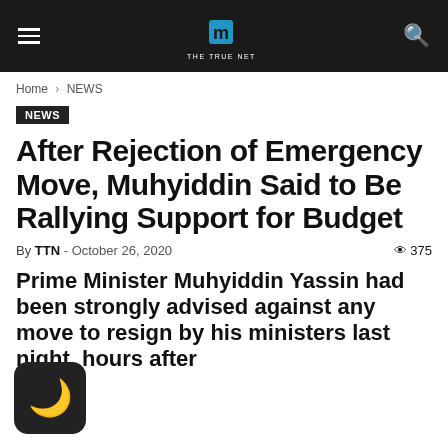THE TRUE NET
Home › NEWS
NEWS
After Rejection of Emergency Move, Muhyiddin Said to Be Rallying Support for Budget
By TTN - October 26, 2020  375
Prime Minister Muhyiddin Yassin had been strongly advised against any move to resign by his ministers last night, hours after